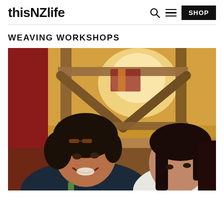thisNZlife — navigation: search, menu, SHOP
WEAVING WORKSHOPS
[Figure (photo): Two women looking down at something together, smiling. Background shows wooden loom structure with warm orange and red tones. The woman on the left has dark curly hair and glasses on her head; the woman on the right has straight dark hair.]